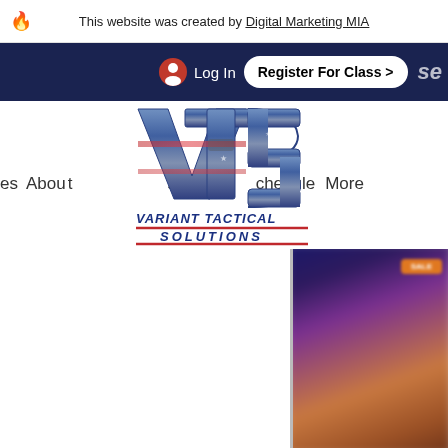This website was created by Digital Marketing MIA
[Figure (screenshot): Website navigation bar with dark navy background showing Log In button with user icon and Register For Class > button in white pill shape]
[Figure (logo): VTS logo with stars-and-stripes styling spelling VTS in metallic letters, with VARIANT TACTICAL SOLUTIONS text below in bold italic blue and red]
About Us   Class Schedule   More
[Figure (photo): Blurred photograph on the right side of the page showing a dark blue/purple background with an orange badge element visible at top right]